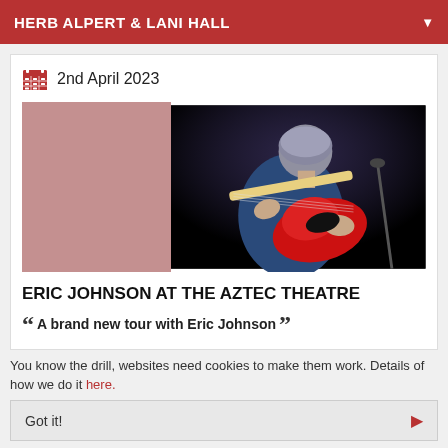HERB ALPERT & LANI HALL
2nd April 2023
[Figure (photo): Guitarist on stage playing a red electric guitar against a dark background, with a partially visible pinkish-rose colored block on the left side of the image.]
ERIC JOHNSON AT THE AZTEC THEATRE
“ A brand new tour with Eric Johnson ”
You know the drill, websites need cookies to make them work. Details of how we do it here.
Got it!